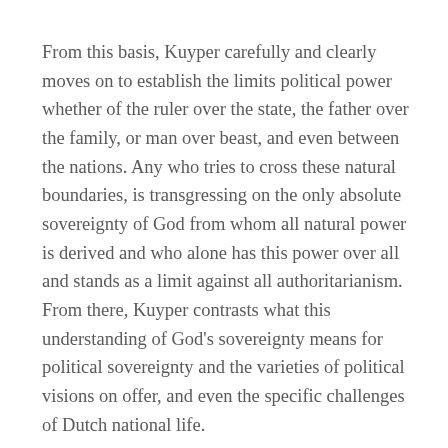From this basis, Kuyper carefully and clearly moves on to establish the limits political power whether of the ruler over the state, the father over the family, or man over beast, and even between the nations. Any who tries to cross these natural boundaries, is transgressing on the only absolute sovereignty of God from whom all natural power is derived and who alone has this power over all and stands as a limit against all authoritarianism. From there, Kuyper contrasts what this understanding of God's sovereignty means for political sovereignty and the varieties of political visions on offer, and even the specific challenges of Dutch national life.
Obviously, the work shows its time and place. Many of the specific policy proposals of Kuyper's program are